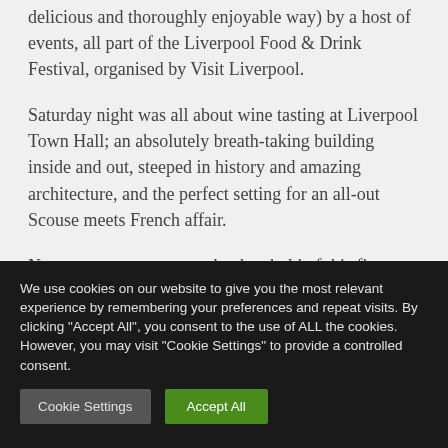delicious and thoroughly enjoyable way) by a host of events, all part of the Liverpool Food & Drink Festival, organised by Visit Liverpool.
Saturday night was all about wine tasting at Liverpool Town Hall; an absolutely breath-taking building inside and out, steeped in history and amazing architecture, and the perfect setting for an all-out Scouse meets French affair.
No sooner we were over the threshold of this fine
We use cookies on our website to give you the most relevant experience by remembering your preferences and repeat visits. By clicking "Accept All", you consent to the use of ALL the cookies. However, you may visit "Cookie Settings" to provide a controlled consent.